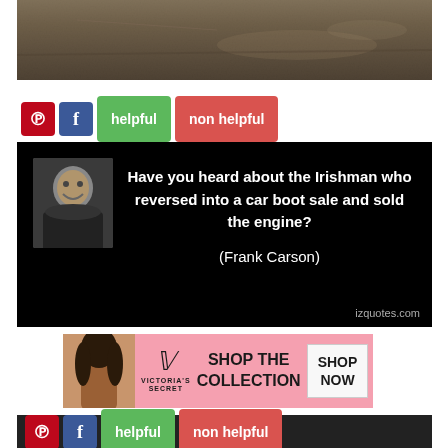[Figure (photo): Sepia-toned banner image showing a textured stone or wall surface with dark tones]
[Figure (screenshot): Quote card on black background with photo of Frank Carson and text: 'Have you heard about the Irishman who reversed into a car boot sale and sold the engine? (Frank Carson)' with Pinterest, Facebook, helpful, and non helpful buttons. Watermark: izquotes.com]
[Figure (screenshot): Victoria's Secret advertisement with pink background showing model, VS logo, 'SHOP THE COLLECTION' text, and 'SHOP NOW' button]
[Figure (screenshot): Button bar with Pinterest, Facebook, helpful, and non helpful buttons on dark background]